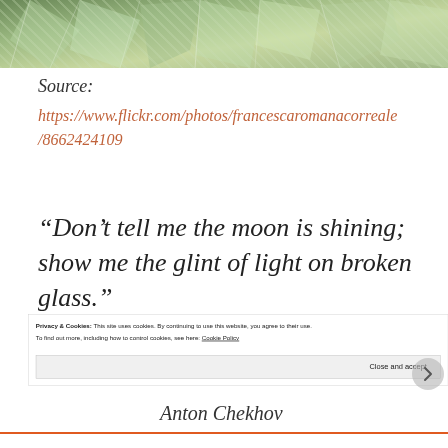[Figure (photo): Partial photo strip at top showing broken glass or ice with green/silvery tones, viewed from above]
Source:
https://www.flickr.com/photos/francescaromanacorreale/8662424109
“Don’t tell me the moon is shining; show me the glint of light on broken glass.”
Anton Chekhov
Privacy & Cookies: This site uses cookies. By continuing to use this website, you agree to their use.
To find out more, including how to control cookies, see here: Cookie Policy